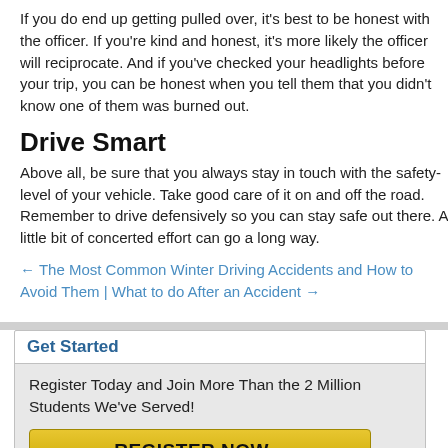If you do end up getting pulled over, it's best to be honest with the officer. If you're kind and honest, it's more likely the officer will reciprocate. And if you've checked your headlights before your trip, you can be honest when you tell them that you didn't know one of them was burned out.
Drive Smart
Above all, be sure that you always stay in touch with the safety-level of your vehicle. Take good care of it on and off the road. Remember to drive defensively so you can stay safe out there. A little bit of concerted effort can go a long way.
← The Most Common Winter Driving Accidents and How to Avoid Them | What to do After an Accident →
Get Started
Register Today and Join More Than the 2 Million Students We've Served!
REGISTER NOW »